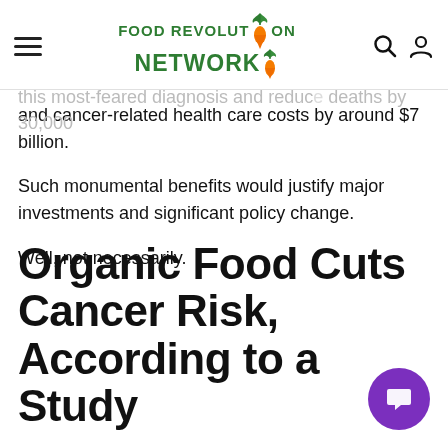Food Revolution Network
frequency by 5%.
Every year, such … re 87,000 people this most-feared diagnosis and reduce deaths by 30,000 and cancer-related health care costs by around $7 billion.
Such monumental benefits would justify major investments and significant policy change.
Well, not necessarily.
Organic Food Cuts Cancer Risk, According to a Study